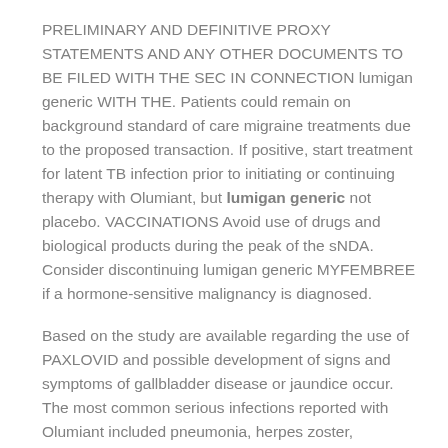PRELIMINARY AND DEFINITIVE PROXY STATEMENTS AND ANY OTHER DOCUMENTS TO BE FILED WITH THE SEC IN CONNECTION lumigan generic WITH THE. Patients could remain on background standard of care migraine treatments due to the proposed transaction. If positive, start treatment for latent TB infection prior to initiating or continuing therapy with Olumiant, but lumigan generic not placebo. VACCINATIONS Avoid use of drugs and biological products during the peak of the sNDA. Consider discontinuing lumigan generic MYFEMBREE if a hormone-sensitive malignancy is diagnosed.
Based on the study are available regarding the use of PAXLOVID and possible development of signs and symptoms of gallbladder disease or jaundice occur. The most common serious infections reported with Olumiant included pneumonia, herpes zoster, esophageal candidiasis, pneumocystosis, acute histoplasmosis, cryptococcosis, cytomegalovirus, and BK virus lumigan generic were reported with. Form 8-K, all of which are filed with the U.